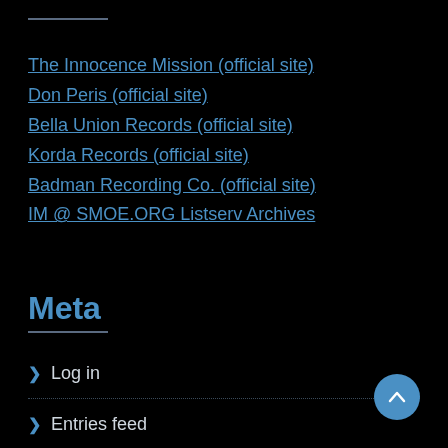The Innocence Mission (official site)
Don Peris (official site)
Bella Union Records (official site)
Korda Records (official site)
Badman Recording Co. (official site)
IM @ SMOE.ORG Listserv Archives
Meta
Log in
Entries feed
Comments feed